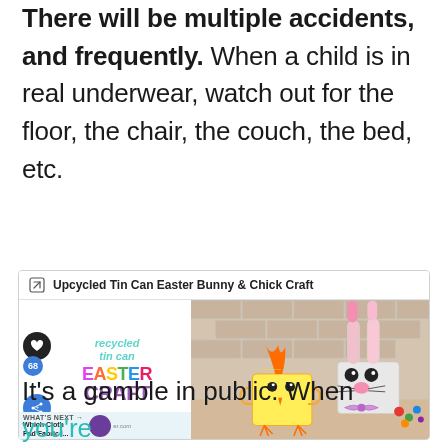There will be multiple accidents, and frequently. When a child is in real underwear, watch out for the floor, the chair, the couch, the bed, etc.
[Figure (screenshot): Ad card for 'Upcycled Tin Can Easter Bunny & Chick Craft' showing a colorful craft image with recycled tin can Easter decorations including a chick and bunny made from tin cans.]
It's a gamble in public. When you're